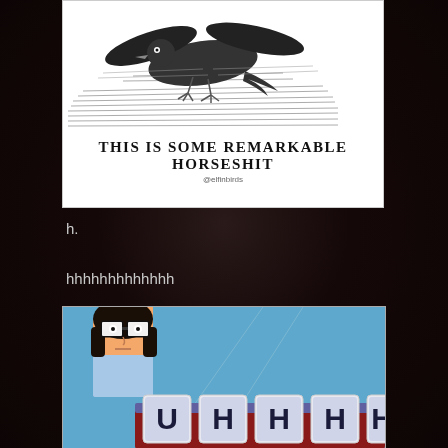[Figure (illustration): Vintage engraving illustration of a bird in flight over hatched shading. Below the bird image, bold serif text reads 'THIS IS SOME REMARKABLE HORSESHIT' with '@elfinbirds' attribution below.]
h.
hhhhhhhhhhhhh
[Figure (illustration): Screenshot from Bob's Burgers animated show showing Tina Belcher with glasses looking at tiles spelling out 'U H H H H' on what appears to be a game show buzzer/panel.]